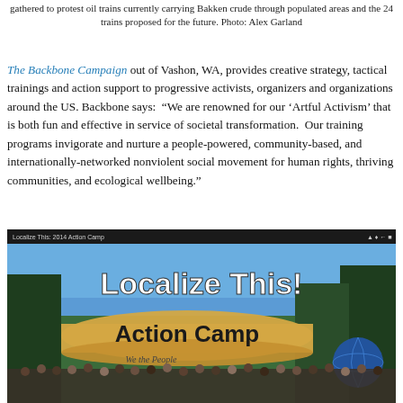gathered to protest oil trains currently carrying Bakken crude through populated areas and the 24 trains proposed for the future. Photo: Alex Garland
The Backbone Campaign out of Vashon, WA, provides creative strategy, tactical trainings and action support to progressive activists, organizers and organizations around the US. Backbone says:  “We are renowned for our ‘Artful Activism’ that is both fun and effective in service of societal transformation.  Our training programs invigorate and nurture a people-powered, community-based, and internationally-networked nonviolent social movement for human rights, thriving communities, and ecological wellbeing.”
[Figure (photo): Screenshot of a video thumbnail titled 'Localize This! Action Camp' showing a large group of activists gathered outdoors holding a 'We the People' banner, with trees in the background and a globe visible on the right side.]